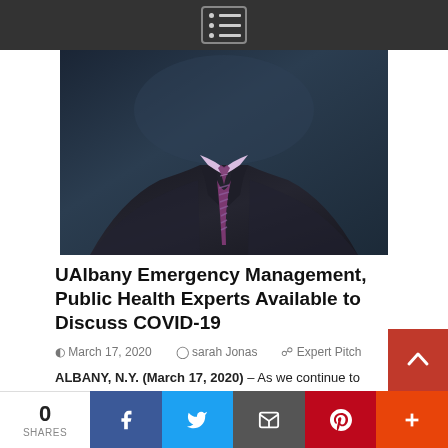[Figure (photo): Top navigation bar with hamburger/menu icon on dark background]
[Figure (photo): Photo of a person in a dark suit with purple striped tie, cropped to chest/torso area, dark blue-toned background]
UAlbany Emergency Management, Public Health Experts Available to Discuss COVID-19
March 17, 2020   sarah Jonas   Expert Pitch
ALBANY, N.Y. (March 17, 2020) – As we continue to prepare for a rise in COVID-19 cases, experts from the University at Albany's first in the nation College of Emergency...